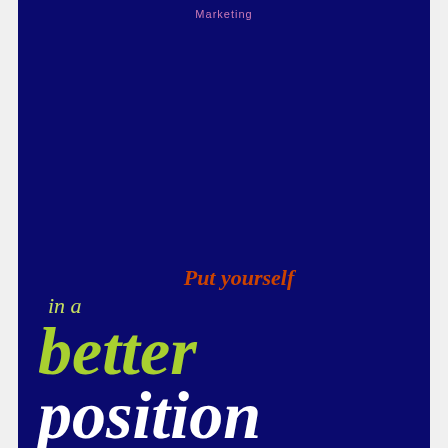Marketing
Put yourself in a better position